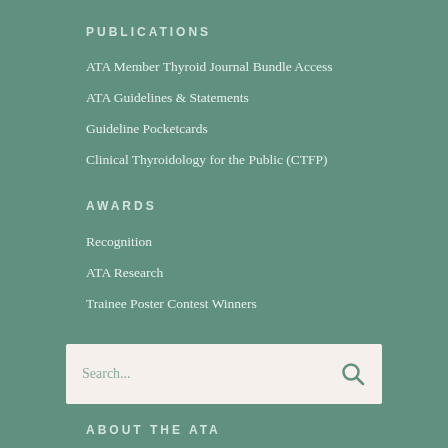PUBLICATIONS
ATA Member Thyroid Journal Bundle Access
ATA Guidelines & Statements
Guideline Pocketcards
Clinical Thyroidology for the Public (CTFP)
AWARDS
Recognition
ATA Research
Trainee Poster Contest Winners
[Figure (other): Search box with placeholder text 'Search...' and a magnifying glass icon on the right]
ABOUT THE ATA
Mission, Vision, Goals